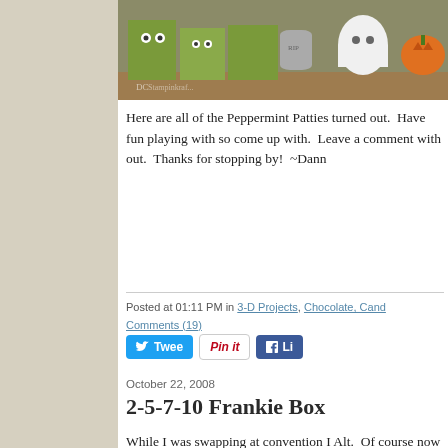[Figure (photo): Halloween-themed 3D paper crafts including Frankenstein monsters, a ghost, and a pumpkin arranged on a surface. Watermark visible in lower left.]
Here are all of the Peppermint Patties turned out.  Have fun playing with so come up with.  Leave a comment with out.  Thanks for stopping by!  ~Dann
Posted at 01:11 PM in 3-D Projects, Chocolate, Cand... Comments (19)
October 22, 2008
2-5-7-10 Frankie Box
While I was swapping at convention I Alt.  Of course now that I'm talking a again if you could see my stamp roo disaster because I've been going throu retired stamp sets that are for sale.
I used Kathy's card as inspiration and